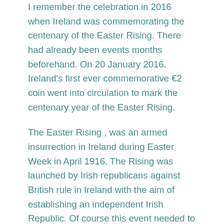I remember the celebration in 2016 when Ireland was commemorating the centenary of the Easter Rising. There had already been events months beforehand. On 20 January 2016. Ireland's first ever commemorative €2 coin went into circulation to mark the centenary year of the Easter Rising.
The Easter Rising , was an armed insurrection in Ireland during Easter Week in April 1916. The Rising was launched by Irish republicans against British rule in Ireland with the aim of establishing an independent Irish Republic. Of course this event needed to be remembered, because it was such an important step towards Irish independence.
However, fast forward to today, December 6 2021, and you will find there are hardly any events planned. Even though today marks the centenary of an even more important event in Irish history, the signing of the Anglo-Irish treaty.